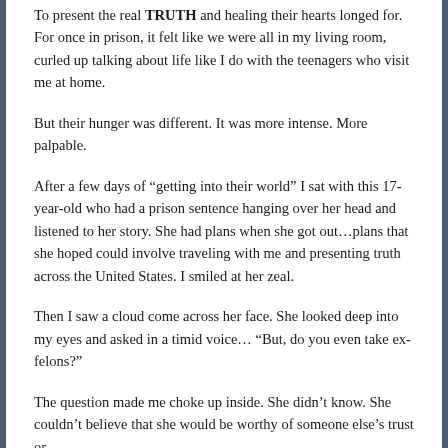To present the real TRUTH and healing their hearts longed for. For once in prison, it felt like we were all in my living room, curled up talking about life like I do with the teenagers who visit me at home.
But their hunger was different. It was more intense. More palpable.
After a few days of “getting into their world” I sat with this 17-year-old who had a prison sentence hanging over her head and listened to her story. She had plans when she got out…plans that she hoped could involve traveling with me and presenting truth across the United States. I smiled at her zeal.
Then I saw a cloud come across her face. She looked deep into my eyes and asked in a timid voice… “But, do you even take ex-felons?”
The question made me choke up inside. She didn’t know. She couldn’t believe that she would be worthy of someone else’s trust or